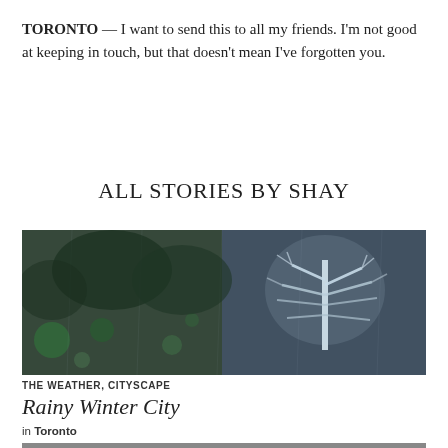TORONTO — I want to send this to all my friends. I'm not good at keeping in touch, but that doesn't mean I've forgotten you.
ALL STORIES BY SHAY
[Figure (photo): A nighttime cityscape photo showing illuminated tree sculpture or artwork with reflections, green and white lights visible through a rainy or wet window. Dark and atmospheric winter city scene.]
THE WEATHER, CITYSCAPE
Rainy Winter City
in Toronto